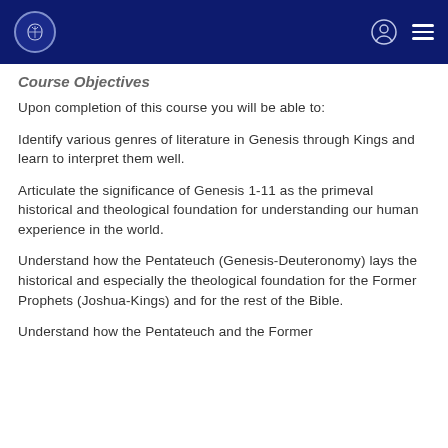Course Objectives
Upon completion of this course you will be able to:
Identify various genres of literature in Genesis through Kings and learn to interpret them well.
Articulate the significance of Genesis 1-11 as the primeval historical and theological foundation for understanding our human experience in the world.
Understand how the Pentateuch (Genesis-Deuteronomy) lays the historical and especially the theological foundation for the Former Prophets (Joshua-Kings) and for the rest of the Bible.
Understand how the Pentateuch and the Former